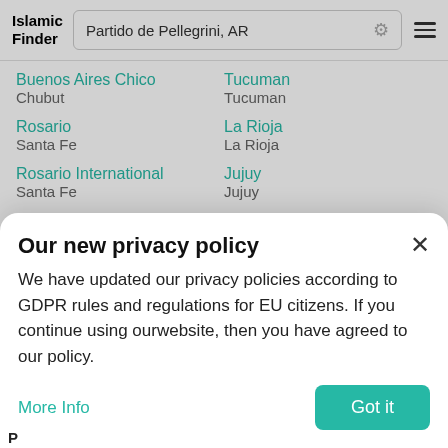Islamic Finder — Partido de Pellegrini, AR
Buenos Aires Chico / Chubut — Tucuman / Tucuman
Rosario / Santa Fe — La Rioja / La Rioja
Rosario International / Santa Fe — Jujuy / Jujuy
La Pampa / La Rioja — 7 de Abril / Tucuman
Our new privacy policy
We have updated our privacy policies according to GDPR rules and regulations for EU citizens. If you continue using ourwebsite, then you have agreed to our policy.
More Info
Got it